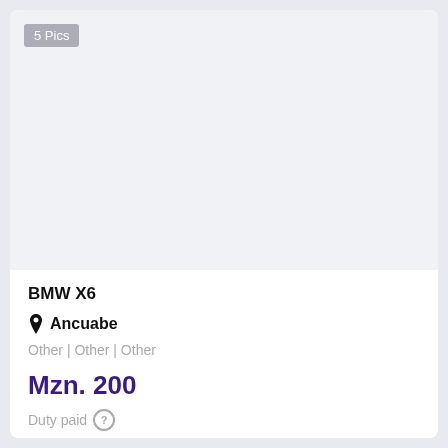[Figure (photo): Car listing image area showing 5 Pics badge on a light grey background]
BMW X6
📍 Ancuabe
Other | Other | Other
Mzn. 200
Duty paid